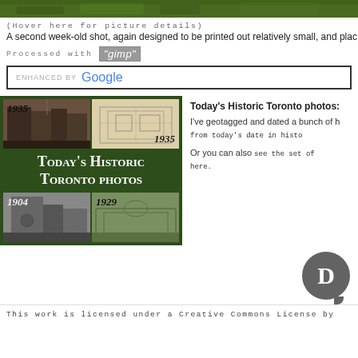[Figure (photo): Green foliage banner photo at top of page]
(Hover here for picture details)
A second week-old shot, again designed to be printed out relatively small, and pla...
Processed with GIMP
[Figure (screenshot): Enhanced by Google search bar]
[Figure (illustration): Today's Historic Toronto Photos promotional block with historic images from 1935, 1904, 1929 and title text]
Today's Historic Toronto photos:
I've geotagged and dated a bunch of historic photos from today's date in histo...
Or you can also see the set of ... here.
[Figure (logo): Disqus D logo circle icon]
This work is licensed under a Creative Commons License by